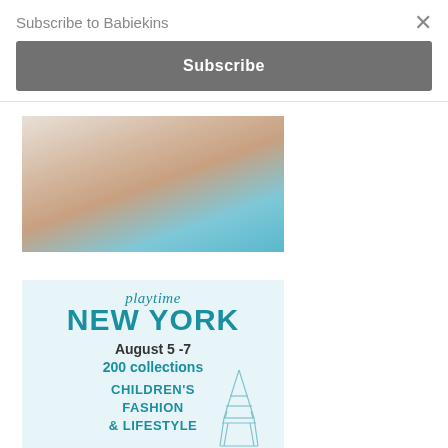Subscribe to Babiekins
×
Subscribe
[Figure (photo): Partial photo of a child/baby, showing legs and lower body near white furniture, with blue background]
[Figure (infographic): Playtime New York advertisement. Script 'playtime' above bold 'NEW YORK'. Text: August 5-7, 200 collections, CHILDREN'S FASHION & LIFESTYLE. Light blue background with partial Eiffel tower illustration.]